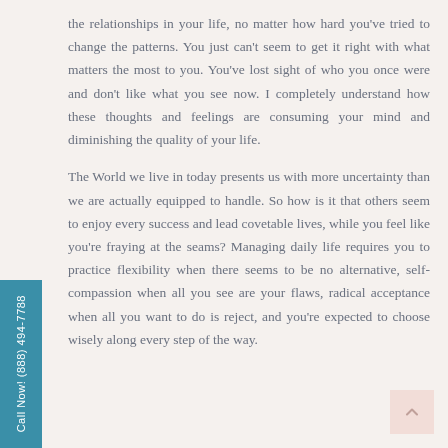the relationships in your life, no matter how hard you've tried to change the patterns. You just can't seem to get it right with what matters the most to you. You've lost sight of who you once were and don't like what you see now. I completely understand how these thoughts and feelings are consuming your mind and diminishing the quality of your life.
The World we live in today presents us with more uncertainty than we are actually equipped to handle. So how is it that others seem to enjoy every success and lead covetable lives, while you feel like you're fraying at the seams? Managing daily life requires you to practice flexibility when there seems to be no alternative, self-compassion when all you see are your flaws, radical acceptance when all you want to do is reject, and you're expected to choose wisely along every step of the way.
Call Now! (888) 494-7788